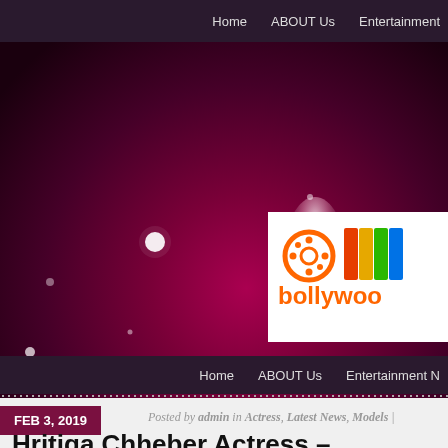Home   ABOUT Us   Entertainment
[Figure (illustration): Dark magenta/purple hero banner with glowing bokeh light spots and a Bollywood logo box (film reel icon, color bars, orange 'bollywood' text) in the upper right area]
Home   ABOUT Us   Entertainment N
FEB 3, 2019   Posted by admin in Actress, Latest News, Models
Hritiqa Chheber Actress – To Debut In Tollywood Wi